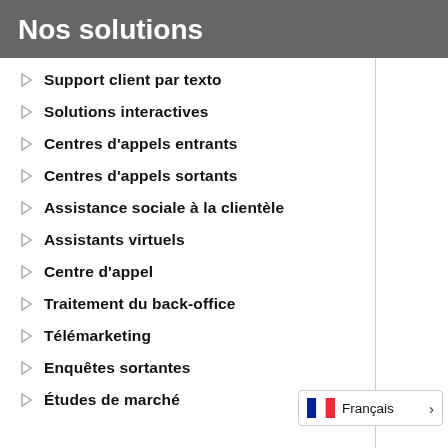Nos solutions
Support client par texto
Solutions interactives
Centres d'appels entrants
Centres d'appels sortants
Assistance sociale à la clientèle
Assistants virtuels
Centre d'appel
Traitement du back-office
Télémarketing
Enquêtes sortantes
Études de marché
Français